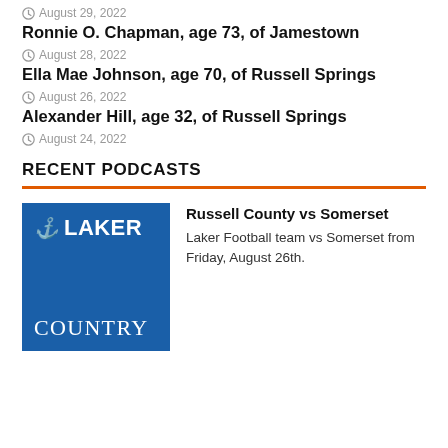August 29, 2022
Ronnie O. Chapman, age 73, of Jamestown
August 28, 2022
Ella Mae Johnson, age 70, of Russell Springs
August 26, 2022
Alexander Hill, age 32, of Russell Springs
August 24, 2022
RECENT PODCASTS
[Figure (logo): Laker Country logo on blue background with anchor-style L icon, LAKER text on top and COUNTRY text on bottom]
Russell County vs Somerset
Laker Football team vs Somerset from Friday, August 26th.